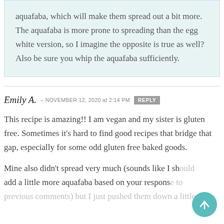aquafaba, which will make them spread out a bit more. The aquafaba is more prone to spreading than the egg white version, so I imagine the opposite is true as well? Also be sure you whip the aquafaba sufficiently.
Emily A. – NOVEMBER 12, 2020 at 2:14 PM  REPLY
This recipe is amazing!! I am vegan and my sister is gluten free. Sometimes it's hard to find good recipes that bridge that gap, especially for some odd gluten free baked goods.
Mine also didn't spread very much (sounds like I should add a little more aquafaba based on your response to previous comments) but I just pushed them down a little